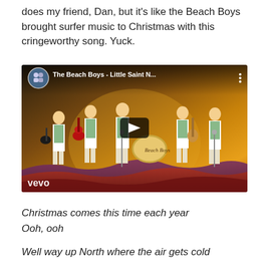does my friend, Dan, but it’s like the Beach Boys brought surfer music to Christmas with this cringeworthy song. Yuck.
[Figure (screenshot): YouTube video thumbnail for 'The Beach Boys - Little Saint N...' showing an animated illustration of The Beach Boys band members in green and white striped shirts playing instruments on stage, with a vevo watermark in the bottom left and a play button in the center.]
Christmas comes this time each year
Ooh, ooh

Well way up North where the air gets cold